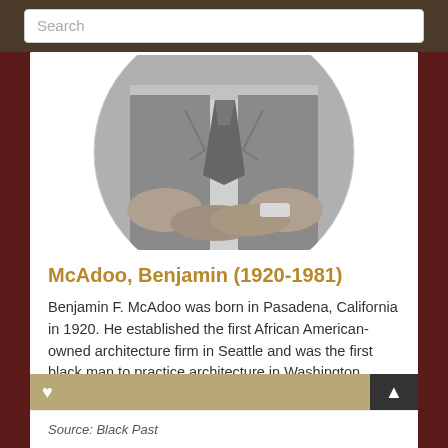Search
[Figure (photo): Black and white circular portrait photograph showing the lower portion of a man in a suit with a tie, arms crossed, cropped at the waist]
McAdoo, Benjamin (1920-1981)
Benjamin F. McAdoo was born in Pasadena, California in 1920. He established the first African American-owned architecture firm in Seattle and was the first black man to practice architecture in Washington State. He was a local community leader and advocate for the advancement of low income resident
Read more
Source: Black Past